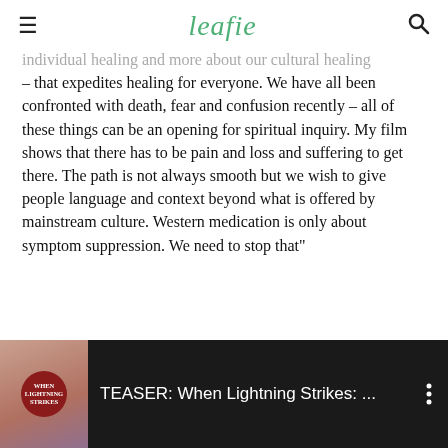leafie
individual healing and more about our cultural healing – that expedites healing for everyone. We have all been confronted with death, fear and confusion recently – all of these things can be an opening for spiritual inquiry. My film shows that there has to be pain and loss and suffering to get there. The path is not always smooth but we wish to give people language and context beyond what is offered by mainstream culture. Western medication is only about symptom suppression. We need to stop that"
[Figure (screenshot): Video thumbnail for 'TEASER: When Lightning Strikes: ...' showing a circular badge with 'WHEN LIGHTNING STRIKES' text and a video menu icon]